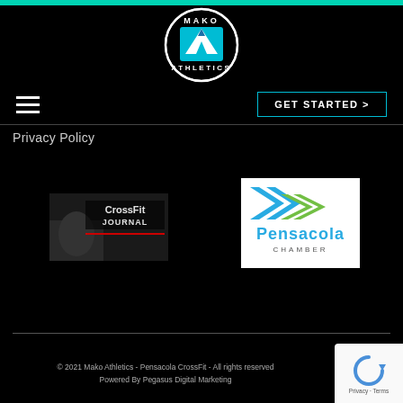[Figure (logo): Mako Athletics circular logo with shark fin M shape, white circle border on black background]
[Figure (other): Hamburger menu icon (three horizontal lines) on the left, GET STARTED > button with cyan border on the right]
Privacy Policy
[Figure (logo): CrossFit Journal logo — photo of athlete lifting weights with CrossFit Journal text overlay]
[Figure (logo): Greater Pensacola Chamber logo — blue and green double arrow chevrons above 'Pensacola' text in teal/blue]
© 2021 Mako Athletics - Pensacola CrossFit - All rights reserved
Powered By Pegasus Digital Marketing
[Figure (other): Google reCAPTCHA badge with circular arrow icon, Privacy and Terms links]